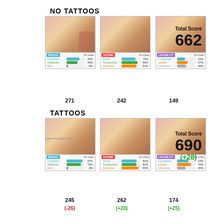NO TATTOOS
[Figure (infographic): Three rating cards for NO TATTOOS condition showing photo of woman in red dress with bar charts for Social (Confident 69%, Authentic 59%, Fun 8% = 271), Dating (Smart 75%, Trustworthy 86%, Attractive 81% = 242), Likability (Competent 43%, Likable 57%, Influential 49% = 149)]
Total Score 662
TATTOOS
[Figure (infographic): Three rating cards for TATTOOS condition showing photo of woman in red dress with bar charts for Social (Confident 87%, Authentic 79%, Fun 8% = 245 (-26)), Dating (Smart 81%, Trustworthy 81%, Attractive 90% = 262 (+20)), Likability (Competent 63%, Likable 76%, Influential 45% = 174 (+25))]
Total Score 690 (+28)
Kaleyworkingforyou.com